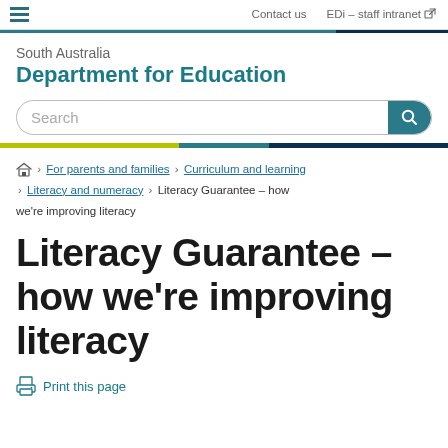Contact us | EDi – staff intranet
South Australia
Department for Education
Search
For parents and families › Curriculum and learning › Literacy and numeracy › Literacy Guarantee – how we're improving literacy
Literacy Guarantee – how we're improving literacy
Print this page